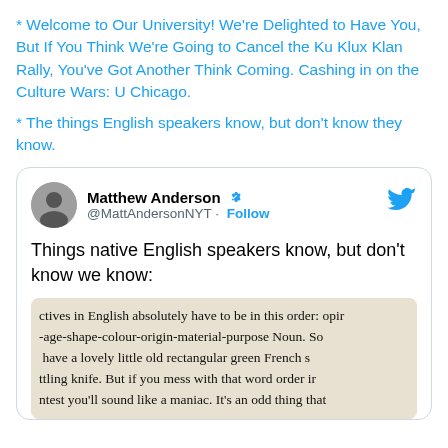* Welcome to Our University! We’re Delighted to Have You, But If You Think We’re Going to Cancel the Ku Klux Klan Rally, You’ve Got Another Think Coming. Cashing in on the Culture Wars: U Chicago.
* The things English speakers know, but don’t know they know.
[Figure (screenshot): Tweet by Matthew Anderson (@MattAndersonNYT) with verified badge and Follow button. Tweet text: 'Things native English speakers know, but don't know we know:' followed by a cropped image of text about adjective order in English: 'ctives in English absolutely have to be in this order: opin -age-shape-colour-origin-material-purpose Noun. So have a lovely little old rectangular green French s ttling knife. But if you mess with that word order ir ntest you’ll sound like a maniac. It’s an odd thing that']